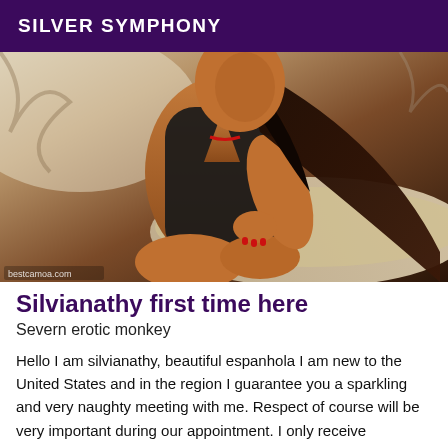SILVER SYMPHONY
[Figure (photo): A woman in a black swimsuit sitting outdoors near driftwood, with long dark hair and red nails. Watermark reads bestcamoa.com at bottom left.]
Silvianathy first time here
Severn erotic monkey
Hello I am silvianathy, beautiful espanhola I am new to the United States and in the region I guarantee you a sparkling and very naughty meeting with me. Respect of course will be very important during our appointment. I only receive respectful men! For more information